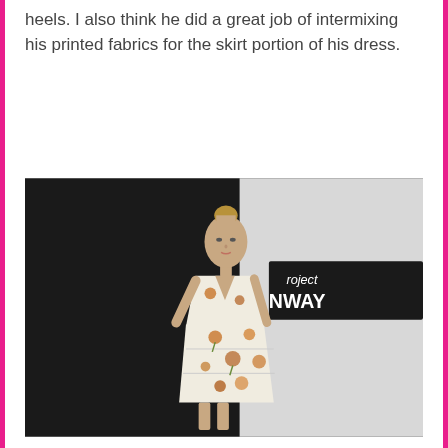heels. I also think he did a great job of intermixing his printed fabrics for the skirt portion of his dress.
[Figure (photo): A female model walking a runway wearing a floral mini dress with a deep V-neckline. The background shows a 'Project Runway' sign. The setting is a dark runway with a white backdrop on the right.]